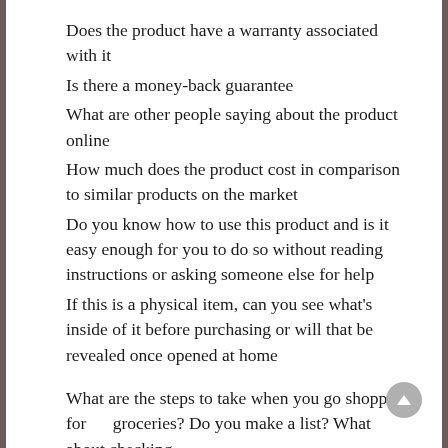Does the product have a warranty associated with it
Is there a money-back guarantee
What are other people saying about the product online
How much does the product cost in comparison to similar products on the market
Do you know how to use this product and is it easy enough for you to do so without reading instructions or asking someone else for help
If this is a physical item, can you see what's inside of it before purchasing or will that be revealed once opened at home
What are the steps to take when you go shopping for groceries? Do you make a list? What about checking